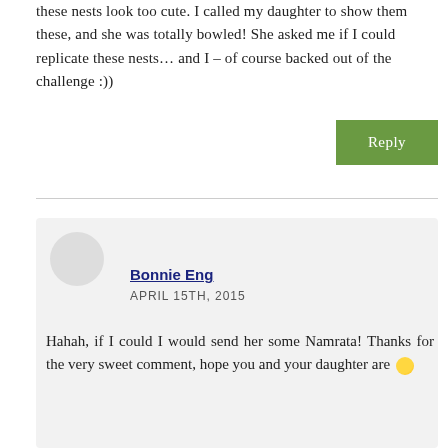these nests look too cute. I called my daughter to show them these, and she was totally bowled! She asked me if I could replicate these nests… and I – of course backed out of the challenge :))
Reply
Bonnie Eng
APRIL 15TH, 2015
Hahah, if I could I would send her some Namrata! Thanks for the very sweet comment, hope you and your daughter are